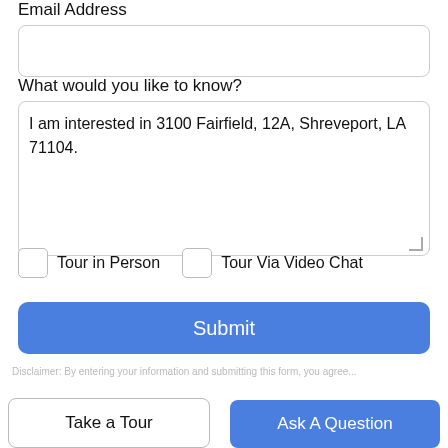Email Address
What would you like to know?
I am interested in 3100 Fairfield, 12A, Shreveport, LA 71104.
Tour in Person
Tour Via Video Chat
Submit
Disclaimer: By entering your information and submitting this form, you agree...
Take a Tour
Ask A Question